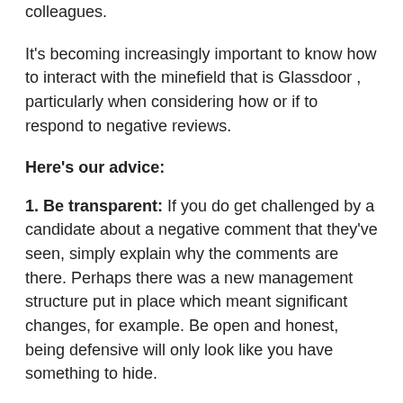colleagues.
It's becoming increasingly important to know how to interact with the minefield that is Glassdoor , particularly when considering how or if to respond to negative reviews.
Here's our advice:
1. Be transparent: If you do get challenged by a candidate about a negative comment that they've seen, simply explain why the comments are there. Perhaps there was a new management structure put in place which meant significant changes, for example. Be open and honest, being defensive will only look like you have something to hide.
2. Build on what you can control: Manage your business' online presence. Asking for recommendations on your LinkedIn Company page is a good example. Determine the sites that are the most